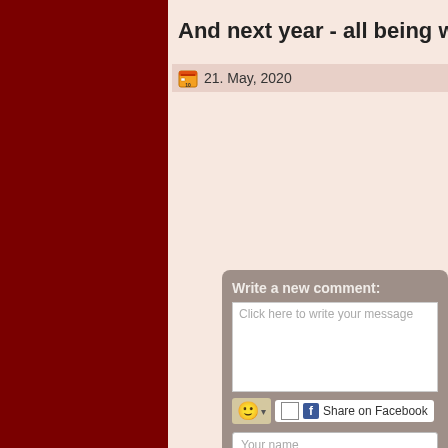And next year - all being well - I w
21. May, 2020
Write a new comment:
Click here to write your message
Share on Facebook
Your name
Yes - I would like to receive an email